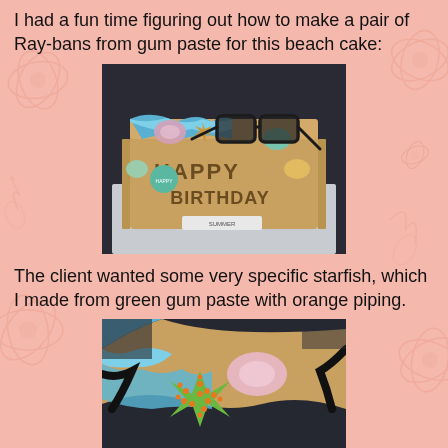I had a fun time figuring out how to make a pair of Ray-bans from gum paste for this beach cake:
[Figure (photo): A rectangular birthday cake decorated to look like a sandy beach. The cake has 'HAPPY BIRTHDAY' written on it in dark lettering, decorated with colorful seashells in pink, teal, and yellow, a starfish, blue wave frosting, and a pair of black Ray-Ban style sunglasses made from gum paste on top.]
The client wanted some very specific starfish, which I made from green gum paste with orange piping.
[Figure (photo): A close-up photo of the beach cake showing the green starfish with orange dot piping detail, the blue ocean wave frosting, the sandy textured cake surface, a pink seashell, and the black gum paste Ray-Ban sunglasses arms.]